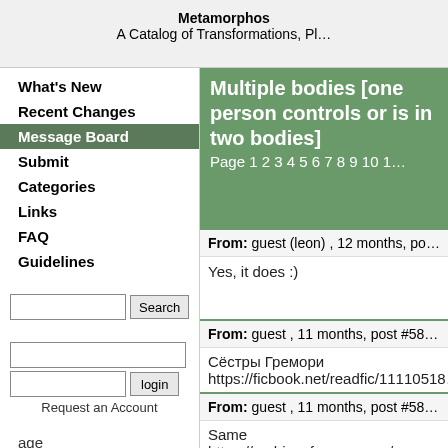Metamorphos — A Catalog of Transformations, Pl…
What's New
Recent Changes
Message Board
Submit
Categories
Links
FAQ
Guidelines
Multiple bodies [one person controls or is in two bodies]
Page 1 2 3 4 5 6 7 8 9 10 1…
From: guest (leon) , 12 months, po…
Yes, it does :)
From: guest , 11 months, post #58…
Сёстры Гремори
https://ficbook.net/readfic/11110518…
From: guest , 11 months, post #58…
Same https://archiveofourown.org/w…
age
animal
female
furry